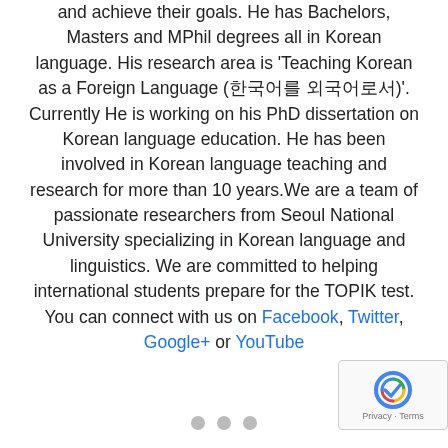and achieve their goals. He has Bachelors, Masters and MPhil degrees all in Korean language. His research area is 'Teaching Korean as a Foreign Language (한국어교육 외국어로서)'. Currently He is working on his PhD dissertation on Korean language education. He has been involved in Korean language teaching and research for more than 10 years.We are a team of passionate researchers from Seoul National University specializing in Korean language and linguistics. We are committed to helping international students prepare for the TOPIK test. You can connect with us on Facebook, Twitter, Google+ or YouTube